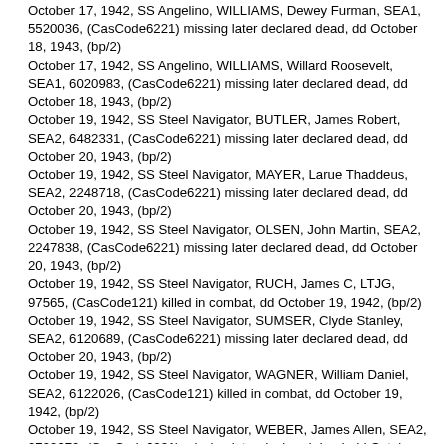October 17, 1942, SS Angelino, WILLIAMS, Dewey Furman, SEA1, 5520036, (CasCode6221) missing later declared dead, dd October 18, 1943, (bp/2)
October 17, 1942, SS Angelino, WILLIAMS, Willard Roosevelt, SEA1, 6020983, (CasCode6221) missing later declared dead, dd October 18, 1943, (bp/2)
October 19, 1942, SS Steel Navigator, BUTLER, James Robert, SEA2, 6482331, (CasCode6221) missing later declared dead, dd October 20, 1943, (bp/2)
October 19, 1942, SS Steel Navigator, MAYER, Larue Thaddeus, SEA2, 2248718, (CasCode6221) missing later declared dead, dd October 20, 1943, (bp/2)
October 19, 1942, SS Steel Navigator, OLSEN, John Martin, SEA2, 2247838, (CasCode6221) missing later declared dead, dd October 20, 1943, (bp/2)
October 19, 1942, SS Steel Navigator, RUCH, James C, LTJG, 97565, (CasCode121) killed in combat, dd October 19, 1942, (bp/2)
October 19, 1942, SS Steel Navigator, SUMSER, Clyde Stanley, SEA2, 6120689, (CasCode6221) missing later declared dead, dd October 20, 1943, (bp/2)
October 19, 1942, SS Steel Navigator, WAGNER, William Daniel, SEA2, 6122026, (CasCode121) killed in combat, dd October 19, 1942, (bp/2)
October 19, 1942, SS Steel Navigator, WEBER, James Allen, SEA2, 2799670, (CasCode6221) missing later declared dead, dd October 20, 1943, (bp/2)
October 19, 1942, SS Steel Navigator, WILLOUGHBY, Leroy James, SEA2, 7006945, (CasCode121) killed in combat, dd October 19, 1942, (bp/2)